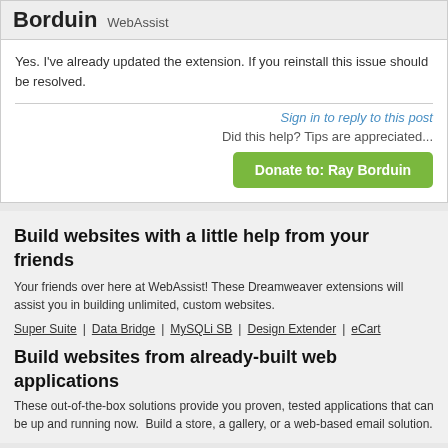Borduin WebAssist
Yes. I've already updated the extension. If you reinstall this issue should be resolved.
Sign in to reply to this post
Did this help? Tips are appreciated...
Donate to: Ray Borduin
Build websites with a little help from your friends
Your friends over here at WebAssist! These Dreamweaver extensions will assist you in building unlimited, custom websites.
Super Suite   |   Data Bridge   |   MySQLi SB   |   Design Extender   |   eCart
Build websites from already-built web applications
These out-of-the-box solutions provide you proven, tested applications that can be up and running now.  Build a store, a gallery, or a web-based email solution.